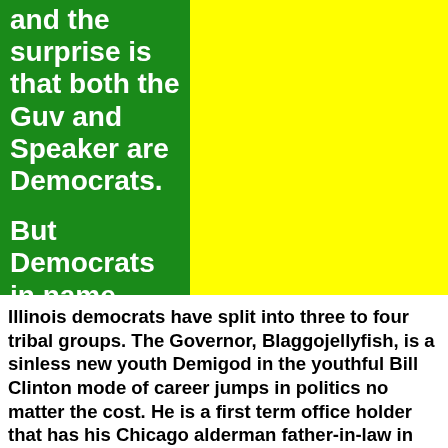and the surprise is that both the Guv and Speaker are Democrats. But Democrats in name only . . . .
Illinois democrats have split into three to four tribal groups. The Governor, Blaggojellyfish, is a sinless new youth Demigod in the youthful Bill Clinton mode of career jumps in politics no matter the cost. He is a first term office holder that has his Chicago alderman father-in-law in the smoke filled backrooms jabbing at the remains of the Daley machine like a man poking a stick into a washed up whale on the beach. This political axis has an axe to grind with the long standing